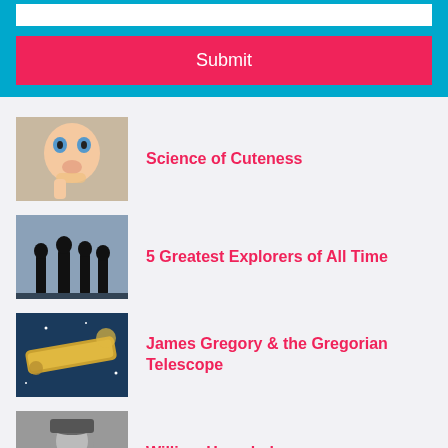[Figure (screenshot): White search input field on cyan/blue background]
Submit
Science of Cuteness
5 Greatest Explorers of All Time
James Gregory & the Gregorian Telescope
William Herschel